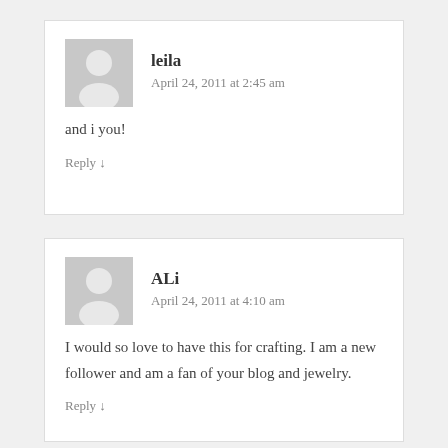[Figure (illustration): Gray avatar/placeholder icon for user leila]
leila
April 24, 2011 at 2:45 am
and i you!
Reply ↓
[Figure (illustration): Gray avatar/placeholder icon for user ALi]
ALi
April 24, 2011 at 4:10 am
I would so love to have this for crafting. I am a new follower and am a fan of your blog and jewelry.
Reply ↓